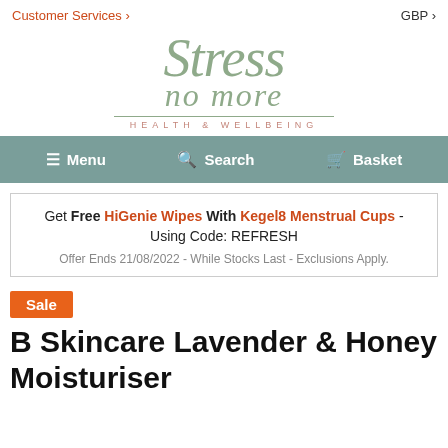Customer Services
[Figure (logo): Stress No More Health & Wellbeing logo in sage green italic script with salmon pink subtitle text]
GBP
Menu   Search   Basket
Get Free HiGenie Wipes With Kegel8 Menstrual Cups - Using Code: REFRESH
Offer Ends 21/08/2022 - While Stocks Last - Exclusions Apply.
Sale
B Skincare Lavender & Honey Moisturiser